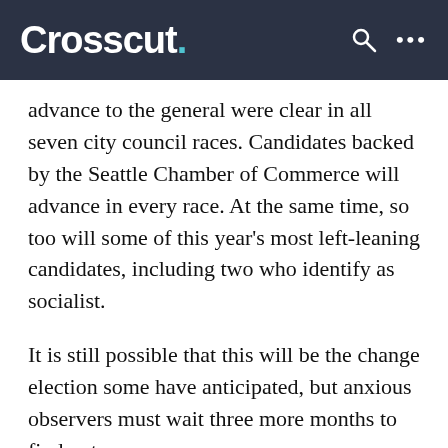Crosscut.
advance to the general were clear in all seven city council races. Candidates backed by the Seattle Chamber of Commerce will advance in every race. At the same time, so too will some of this year's most left-leaning candidates, including two who identify as socialist.
It is still possible that this will be the change election some have anticipated, but anxious observers must wait three more months to find out.
The biggest surprise of the night may have